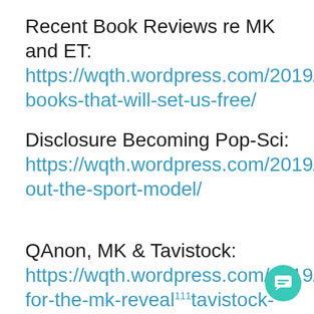Recent Book Reviews re MK and ET: https://wqth.wordpress.com/2019/09/12/five-books-that-will-set-us-free/
Disclosure Becoming Pop-Sci: https://wqth.wordpress.com/2019/09/15/roll-out-the-sport-model/
QAnon, MK & Tavistock: https://wqth.wordpress.com/2019/01/14/preparing-for-the-mk-reveal-tavistock-basics/